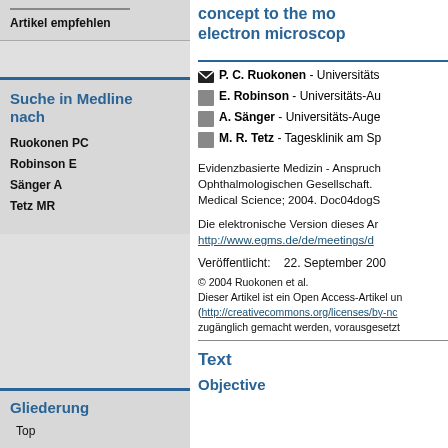concept to the mo electron microscop
Artikel empfehlen
Suche in Medline nach
Ruokonen PC
Robinson E
Sänger A
Tetz MR
P. C. Ruokonen - Universitäts
E. Robinson - Universitäts-Au
A. Sänger - Universitäts-Auge
M. R. Tetz - Tagesklinik am Sp
Evidenzbasierte Medizin - Anspruch Ophthalmologischen Gesellschaft. Medical Science; 2004. Doc04dogS
Die elektronische Version dieses Ar http://www.egms.de/de/meetings/d
Veröffentlicht:    22. September 200
© 2004 Ruokonen et al.
Dieser Artikel ist ein Open Access-Artikel un (http://creativecommons.org/licenses/by-nc zugänglich gemacht werden, vorausgesetzt
Text
Objective
Gliederung
Top